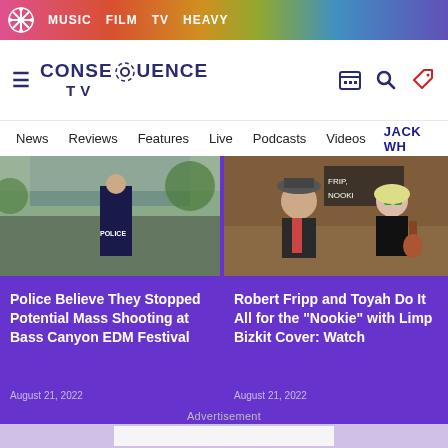MUSIC  FILM  TV  HEAVY
[Figure (screenshot): Consequence TV site logo with hamburger menu and navigation icons]
News  Reviews  Features  Live  Podcasts  Videos  JACK WH
[Figure (photo): Police officer at crowded outdoor music festival]
Police Believe They Stopped Potential Mass Shooting at Bass Canyon EDM Festival
August 21, 2022
[Figure (photo): Robert Fripp in hat and Toyah with guitar, in front of Fripp Nookie sign]
Robert Fripp and Toyah Do It All for the "Nookie" with Limp Bizkit Cover: Watch
August 21, 2022
Advertisement